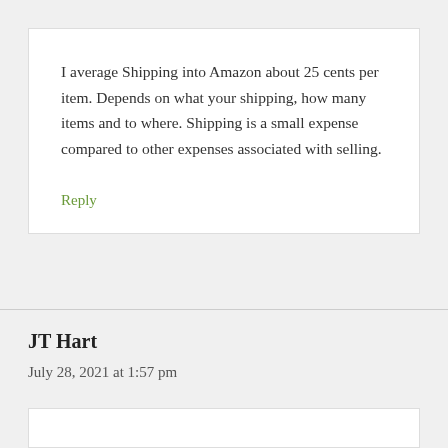I average Shipping into Amazon about 25 cents per item. Depends on what your shipping, how many items and to where. Shipping is a small expense compared to other expenses associated with selling.
Reply
JT Hart
July 28, 2021 at 1:57 pm